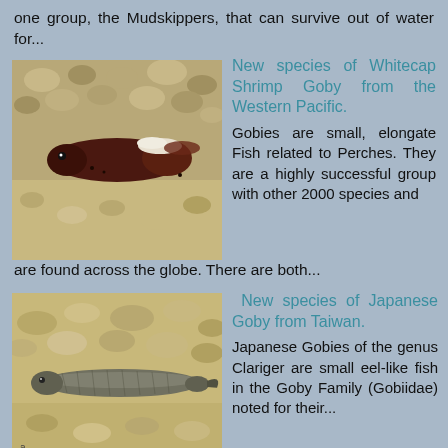one group, the Mudskippers, that can survive out of water for...
[Figure (photo): Close-up photo of a Whitecap Shrimp Goby fish, dark reddish-brown coloration with a white marking, on a sandy/pebbly substrate.]
New species of Whitecap Shrimp Goby from the Western Pacific.
Gobies are small, elongate Fish related to Perches. They are a highly successful group with other 2000 species and are found across the globe. There are both...
[Figure (photo): Photo of a Japanese Goby fish from Taiwan, elongated eel-like body, brownish coloration, lying on sandy substrate.]
New species of Japanese Goby from Taiwan.
Japanese Gobies of the genus Clariger are small eel-like fish in the Goby Family (Gobiidae) noted for their...